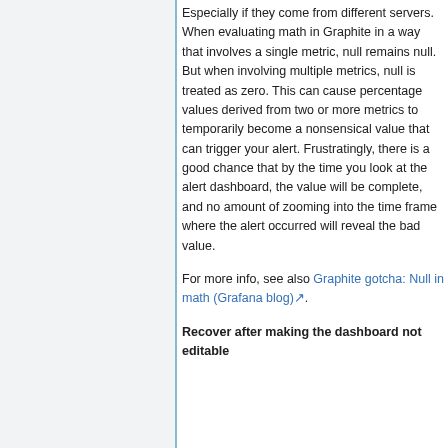Especially if they come from different servers. When evaluating math in Graphite in a way that involves a single metric, null remains null. But when involving multiple metrics, null is treated as zero. This can cause percentage values derived from two or more metrics to temporarily become a nonsensical value that can trigger your alert. Frustratingly, there is a good chance that by the time you look at the alert dashboard, the value will be complete, and no amount of zooming into the time frame where the alert occurred will reveal the bad value.
For more info, see also Graphite gotcha: Null in math (Grafana blog).
Recover after making the dashboard not editable